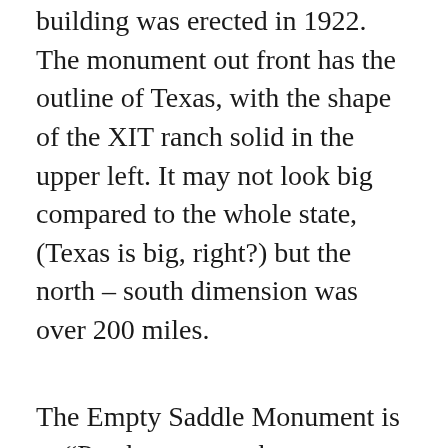building was erected in 1922. The monument out front has the outline of Texas, with the shape of the XIT ranch solid in the upper left. It may not look big compared to the whole state, (Texas is big, right?) but the north – south dimension was over 200 miles.
The Empty Saddle Monument is to “Pay homage to the range riders of the past.”
We rode our bikes to the Lake Rita Blanca.